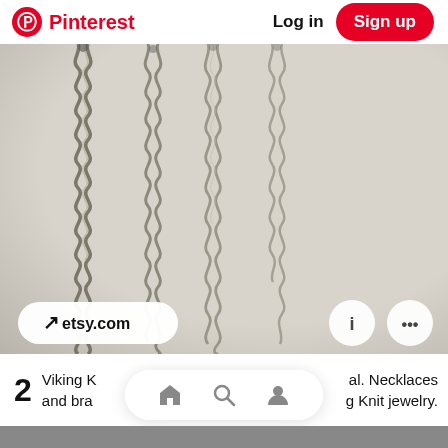Pinterest  Log in  Sign up
[Figure (photo): Close-up photo of several viking knit silver-tone chain necklaces/bracelets hanging against a light gray felt/fabric background. The chains have a twisted, coiled wire appearance. An etsy.com badge appears at bottom left, with info (i) and more (...) icon buttons at bottom right.]
2  Viking K... and bra...  al. Necklaces g Knit jewelry.